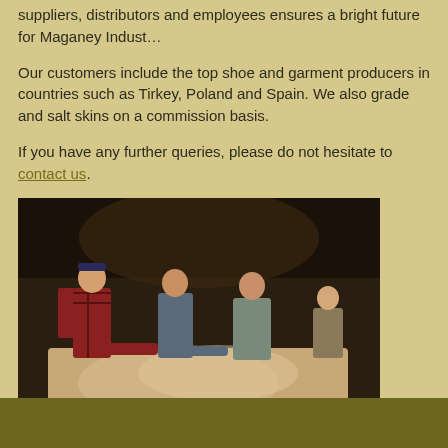suppliers, distributors and employees ensures a bright future for Maganey Indust…
Our customers include the top shoe and garment producers in countries such as Tirkey, Poland and Spain. We also grade and salt skins on a commission basis.
If you have any further queries, please do not hesitate to contact us.
[Figure (photo): People working around a large table in a warehouse or industrial setting, examining or processing animal skins.]
Click image for larger version.